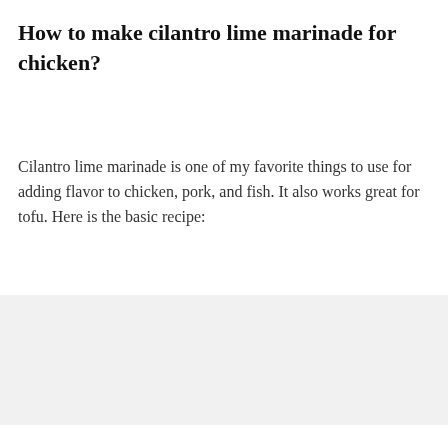How to make cilantro lime marinade for chicken?
Cilantro lime marinade is one of my favorite things to use for adding flavor to chicken, pork, and fish. It also works great for tofu. Here is the basic recipe:
[Figure (other): Light gray background box, empty, representing a recipe image placeholder area]